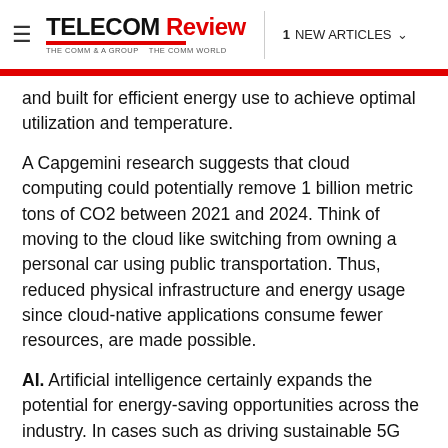TELECOM Review | 1 NEW ARTICLES
and built for efficient energy use to achieve optimal utilization and temperature.
A Capgemini research suggests that cloud computing could potentially remove 1 billion metric tons of CO2 between 2021 and 2024. Think of moving to the cloud like switching from owning a personal car using public transportation. Thus, reduced physical infrastructure and energy usage since cloud-native applications consume fewer resources, are made possible.
AI. Artificial intelligence certainly expands the potential for energy-saving opportunities across the industry. In cases such as driving sustainable 5G networks, it's important to deploy AI at this point. This will gain enough